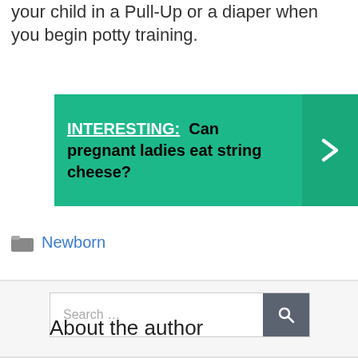your child in a Pull-Up or a diaper when you begin potty training.
[Figure (infographic): Teal/green banner with bold text 'INTERESTING: Can pregnant ladies eat string cheese?' and a right-arrow chevron on the right side]
Newborn
[Figure (other): Search bar with placeholder text 'Search ...' and a dark search button with magnifying glass icon]
About the author